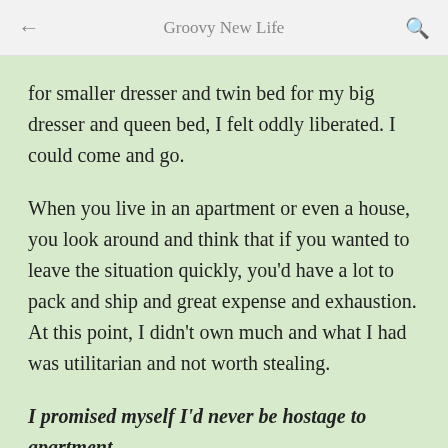Groovy New Life
for smaller dresser and twin bed for my big dresser and queen bed, I felt oddly liberated. I could come and go.
When you live in an apartment or even a house, you look around and think that if you wanted to leave the situation quickly, you'd have a lot to pack and ship and great expense and exhaustion. At this point, I didn't own much and what I had was utilitarian and not worth stealing.
I promised myself I'd never be hostage to apartment